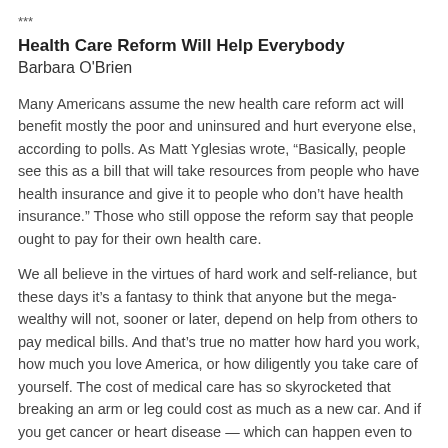***
Health Care Reform Will Help Everybody
Barbara O'Brien
Many Americans assume the new health care reform act will benefit mostly the poor and uninsured and hurt everyone else, according to polls. As Matt Yglesias wrote, “Basically, people see this as a bill that will take resources from people who have health insurance and give it to people who don’t have health insurance.” Those who still oppose the reform say that people ought to pay for their own health care.
We all believe in the virtues of hard work and self-reliance, but these days it’s a fantasy to think that anyone but the mega-wealthy will not, sooner or later, depend on help from others to pay medical bills. And that’s true no matter how hard you work, how much you love America, or how diligently you take care of yourself. The cost of medical care has so skyrocketed that breaking an arm or leg could cost as much as a new car. And if you get cancer or heart disease — which can happen even to people who live healthy lifestyles — forget about it. The disease will not only clean you out; it